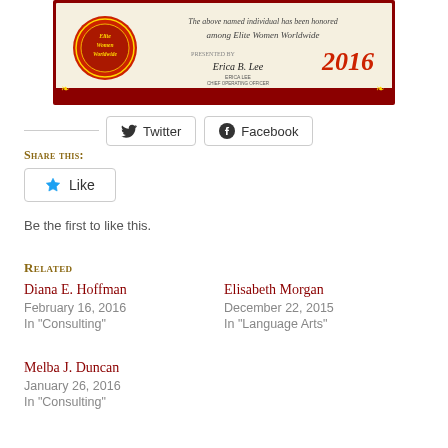[Figure (illustration): Partial view of an Elite Women Worldwide certificate for 2016, showing a decorative red and cream certificate with a circular red seal on the left, cursive text reading 'The above named individual has been honored among Elite Women Worldwide', a signature of Erica Lee, Chief Operating Officer, and the year '2016' in red.]
Twitter
Facebook
Share this:
Like
Be the first to like this.
Related
Diana E. Hoffman
February 16, 2016
In "Consulting"
Elisabeth Morgan
December 22, 2015
In "Language Arts"
Melba J. Duncan
January 26, 2016
In "Consulting"